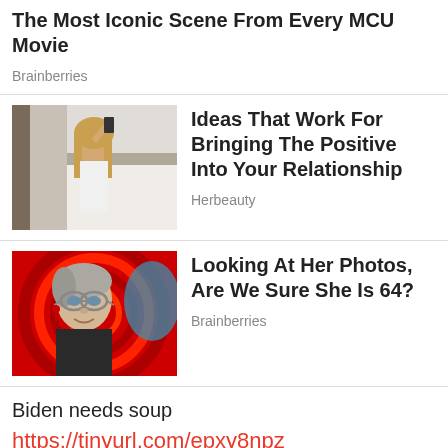The Most Iconic Scene From Every MCU Movie
Brainberries
[Figure (photo): Woman with long blonde hair taking a selfie in a bedroom wearing a white outfit]
Ideas That Work For Bringing The Positive Into Your Relationship
Herbeauty
[Figure (photo): Older woman with short grey hair and glasses against a red swirling background]
Looking At Her Photos, Are We Sure She Is 64?
Brainberries
Biden needs soup
https://tinyurl.com/epxy8npz
La Palma predictive programming